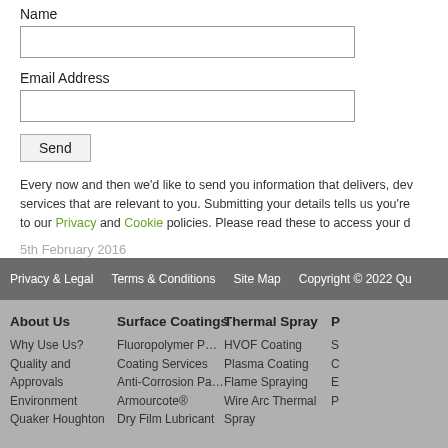Name
[input field]
Email Address
[input field]
Send
Every now and then we'd like to send you information that delivers, dev services that are relevant to you. Submitting your details tells us you're to our Privacy and Cookie policies. Please read these to access your d
5th February 2016
Privacy & Legal   Terms & Conditions   Site Map   Copyright © 2022 Qu
About Us
Why Use Us?
Quality and Approvals
Environment
Quaker Houghton
Surface Coatings
Fluoropolymer PTFE Coating Services
Anti-Corrosion Paint
Armourcote®
Dry Film Lubricant
Thermal Spray
HVOF Coating
Plasma Coating
Flame Spraying
Wire Arc Thermal Spray